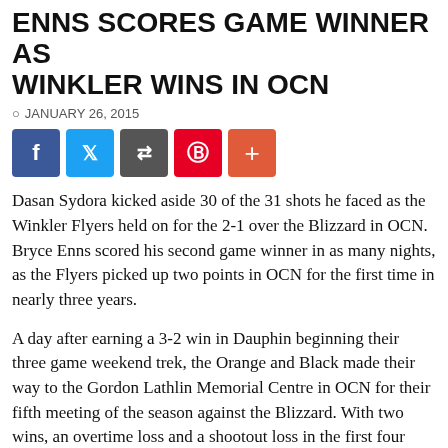ENNS SCORES GAME WINNER AS WINKLER WINS IN OCN
JANUARY 26, 2015
[Figure (other): Social media share buttons: Facebook, Twitter, Share, Pinterest, More]
Dasan Sydora kicked aside 30 of the 31 shots he faced as the Winkler Flyers held on for the 2-1 over the Blizzard in OCN. Bryce Enns scored his second game winner in as many nights, as the Flyers picked up two points in OCN for the first time in nearly three years.
A day after earning a 3-2 win in Dauphin beginning their three game weekend trek, the Orange and Black made their way to the Gordon Lathlin Memorial Centre in OCN for their fifth meeting of the season against the Blizzard. With two wins, an overtime loss and a shootout loss in the first four contests, Winkler was looking to extend their winning streak to three, in a building that had not produced many positive results in recent memory. In fact, the last time the Flyers won a game in OCN was